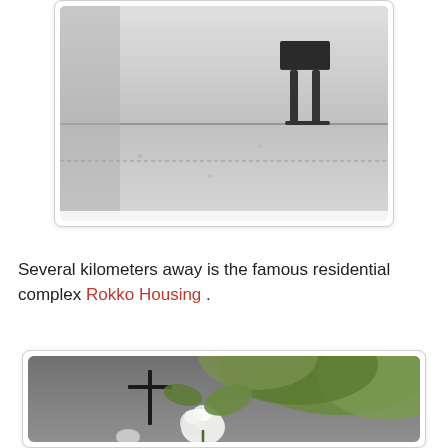[Figure (photo): Black and white interior photograph showing a minimalist concrete space with a chair and smooth stone or concrete floor, partial view cropped at top]
Several kilometers away is the famous residential complex Rokko Housing .
[Figure (photo): Color photograph of a white rose flower with large green leaves in front of a concrete wall bearing a cross-shaped cutout or mark, architectural setting]